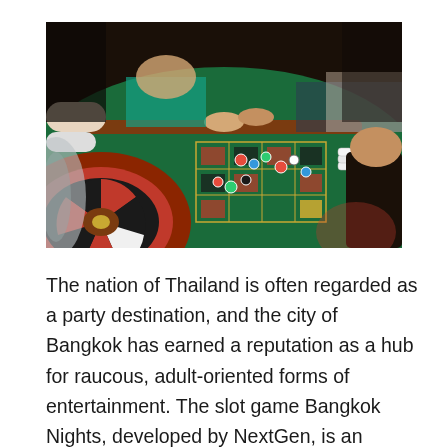[Figure (photo): Casino roulette table with players gathered around a green felt table with chips and betting layout. A roulette wheel is visible in the foreground.]
The nation of Thailand is often regarded as a party destination, and the city of Bangkok has earned a reputation as a hub for raucous, adult-oriented forms of entertainment. The slot game Bangkok Nights, developed by NextGen, is an attempt to